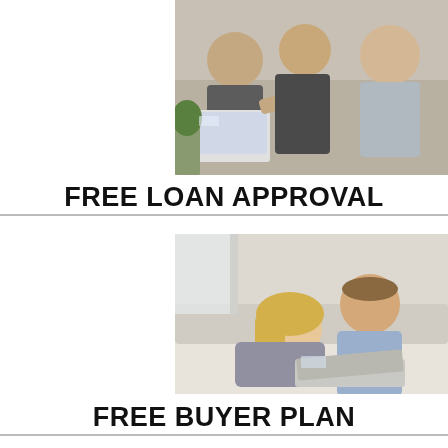[Figure (photo): Three people sitting together around a laptop, one pointing at the screen, appearing to be in a consultation or meeting about a loan or financial matter.]
FREE LOAN APPROVAL
[Figure (photo): A couple lying on the floor together looking at a laptop, the woman resting her head on her hand while the man points at the screen, browsing or reviewing a buyer plan.]
FREE BUYER PLAN